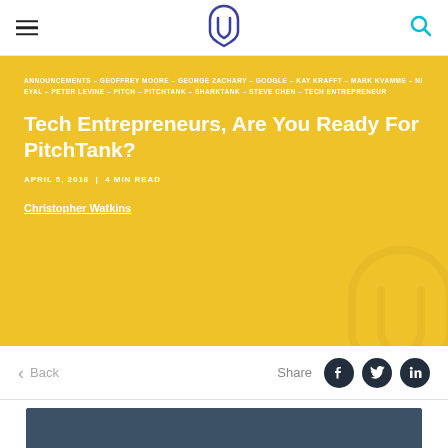Navigation bar with hamburger menu, Udemy logo, and search icon
ANNOUNCEMENTS – GEOFFREY MOORE – GEORGE ZACHARY – GOOGLE – KAY KRAFFT – MARK KVAMME – NI EYAL – PETER LEVINE – PITCH – PITCHTANK – SHARKTANK – STEVE CHEN – TECH ENTREPRENEUR
Tech Entrepreneurs, Are You Ready For PitchTank?
APRIL 5, 2016 | 4 MIN READ
Christopher Watkins
Back
Share
[Figure (photo): Dark blue/slate colored image placeholder at the bottom of the page]